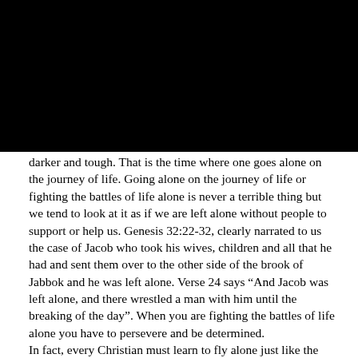[Figure (photo): Dark/black image at the top of the page, likely a photograph with very low visibility.]
darker and tough. That is the time where one goes alone on the journey of life. Going alone on the journey of life or fighting the battles of life alone is never a terrible thing but we tend to look at it as if we are left alone without people to support or help us. Genesis 32:22-32, clearly narrated to us the case of Jacob who took his wives, children and all that he had and sent them over to the other side of the brook of Jabbok and he was left alone. Verse 24 says “And Jacob was left alone, and there wrestled a man with him until the breaking of the day”. When you are fighting the battles of life alone you have to persevere and be determined. In fact, every Christian must learn to fly alone just like the Eagle and at high Altitude. When you walk, you can walk with multitudes, when you run, you can run with few but when you fly, you must fly alone. Eagles do not fly with sparrows, ravens or other small birds, they fly alone. That is, if you want to go far in life as a Christian, you must learn to fly alone. You must stay away from narrow minded-people that will bring you down. You have to keep a God-company not good-company. That altitude